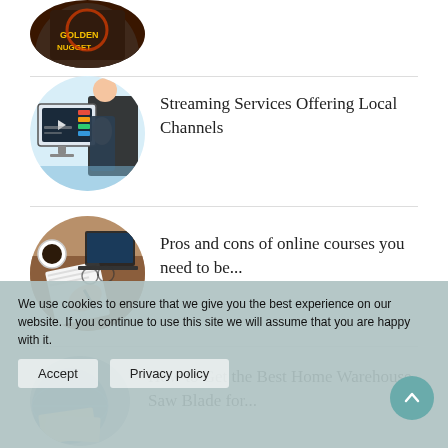[Figure (photo): Partial circular thumbnail: Las Vegas Golden Nugget neon sign at top of page]
[Figure (illustration): Circular thumbnail: person with streaming/TV interface illustration]
Streaming Services Offering Local Channels
[Figure (photo): Circular thumbnail: aerial view of desk with coffee, laptop, notebooks, person writing]
Pros and cons of online courses you need to be...
[Figure (photo): Circular thumbnail: globe and study materials - partially visible]
How to Get the Best Home Warehouse Saw Blade for...
We use cookies to ensure that we give you the best experience on our website. If you continue to use this site we will assume that you are happy with it.
Accept
Privacy policy